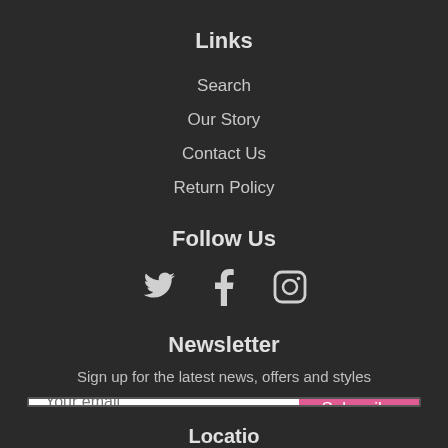Links
Search
Our Story
Contact Us
Return Policy
Follow Us
[Figure (other): Social media icons: Twitter bird, Facebook F, Instagram camera]
Newsletter
Sign up for the latest news, offers and styles
Your email [input] Subscribe [button]
Location (partially visible)